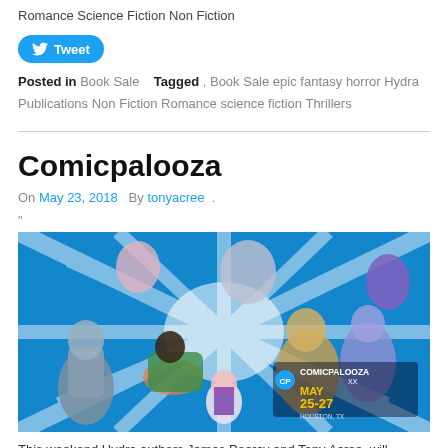Romance Science Fiction Non Fiction
[Figure (other): Twitter Tweet button with bird icon]
Posted in Book Sale   Tagged , Book Sale epic fantasy horror Hydra Publications Non Fiction Romance science fiction Thrillers
Comicpalooza
On May 23, 2018  By tonyacree  .
"
[Figure (illustration): Comicpalooza promotional banner featuring comic/anime-style characters on a blue burst background with the text COMICPALOOZA MAY 25-27 Houston, TX]
This weekend Hydra authors James Peercy and Tony Acree, will